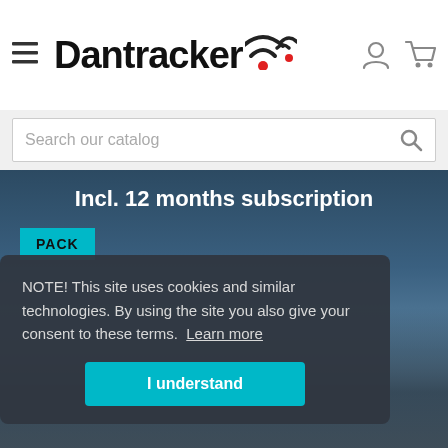[Figure (screenshot): Dantracker website header with hamburger menu, Dantracker logo with red dot and wifi signal icon, and user/cart icons on the right]
[Figure (screenshot): Search bar with placeholder text 'Search our catalog' and a search icon]
Incl. 12 months subscription
PACK
NOTE! This site uses cookies and similar technologies. By using the site you also give your consent to these terms. Learn more
I understand